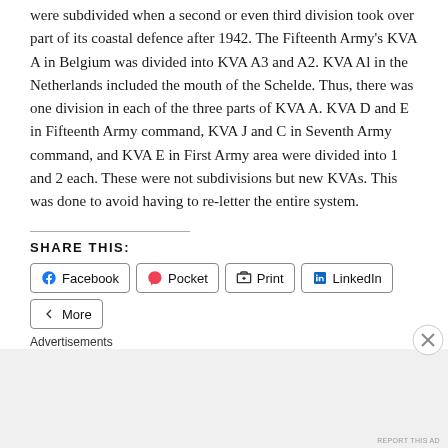were subdivided when a second or even third division took over part of its coastal defence after 1942. The Fifteenth Army's KVA A in Belgium was divided into KVA A3 and A2. KVA Al in the Netherlands included the mouth of the Schelde. Thus, there was one division in each of the three parts of KVA A. KVA D and E in Fifteenth Army command, KVA J and C in Seventh Army command, and KVA E in First Army area were divided into 1 and 2 each. These were not subdivisions but new KVAs. This was done to avoid having to re-letter the entire system.
SHARE THIS:
Facebook  Pocket  Print  LinkedIn  More
Advertisements